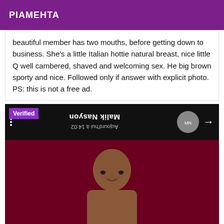PIAMEHTA
beautiful member has two mouths, before getting down to business. She's a little Italian hottie natural breast, nice little Q well cambered, shaved and welcoming sex. He big brown sporty and nice. Followed only if answer with explicit photo. PS: this is not a free ad.
[Figure (photo): Screenshot of a social media notification showing mirrored/flipped text reading 'Malik Nasyon' and 'Aujourd'hui à 14:02', with a 'Verified' badge overlay, on a dark background. Below the notification bar is a photo of a young woman with braided hair against a dark red background.]